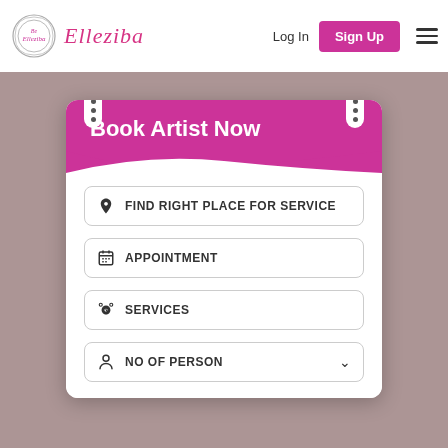Elleziba — Log In | Sign Up
Book Artist Now
FIND RIGHT PLACE FOR SERVICE
APPOINTMENT
SERVICES
NO OF PERSON